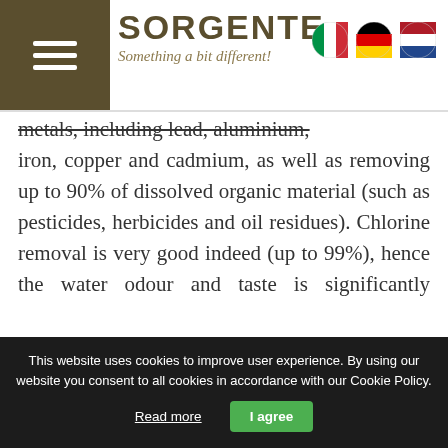[Figure (logo): Sorgente logo with hamburger menu icon, brand name SORGENTE, tagline 'Something a bit different!', and three flag icons (Italian, German, Dutch)]
metals, including lead, aluminium, iron, copper and cadmium, as well as removing up to 90% of dissolved organic material (such as pesticides, herbicides and oil residues). Chlorine removal is very good indeed (up to 99%), hence the water odour and taste is significantly improved.
Read more: The Kitchen and Dining room
This website uses cookies to improve user experience. By using our website you consent to all cookies in accordance with our Cookie Policy.
Read more
I agree